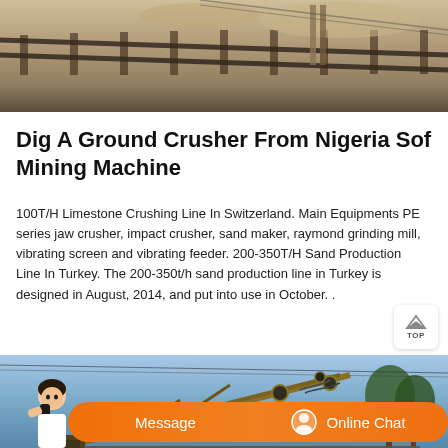[Figure (photo): Top image showing a sandy/gravel mining or construction site with rails or linear elements visible]
Dig A Ground Crusher From Nigeria Sof Mining Machine
100T/H Limestone Crushing Line In Switzerland. Main Equipments PE series jaw crusher, impact crusher, sand maker, raymond grinding mill, vibrating screen and vibrating feeder. 200-350T/H Sand Production Line In Turkey. The 200-350t/h sand production line in Turkey is designed in August, 2014, and put into use in October. .
[Figure (photo): Bottom image showing industrial mining conveyor/crusher machinery in an outdoor setting with blue sky and trees in background]
Message
Online Chat